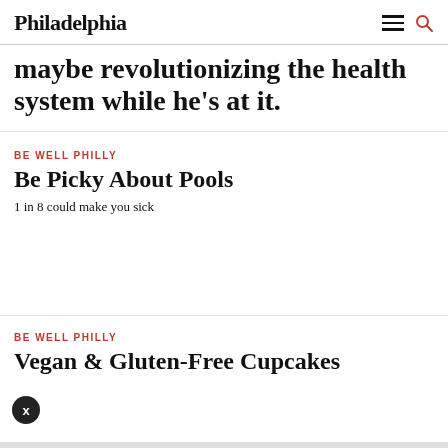Philadelphia
maybe revolutionizing the health system while he’s at it.
BE WELL PHILLY
Be Picky About Pools
1 in 8 could make you sick
BE WELL PHILLY
Vegan & Gluten-Free Cupcakes